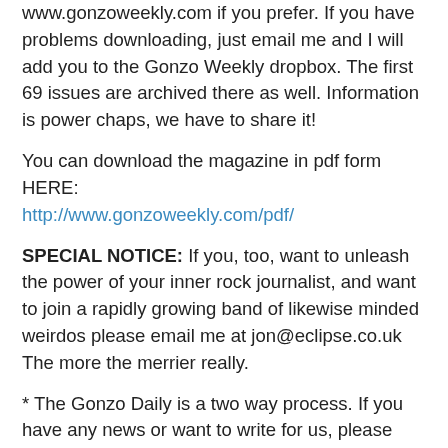www.gonzoweekly.com if you prefer. If you have problems downloading, just email me and I will add you to the Gonzo Weekly dropbox. The first 69 issues are archived there as well. Information is power chaps, we have to share it!
You can download the magazine in pdf form HERE: http://www.gonzoweekly.com/pdf/
SPECIAL NOTICE: If you, too, want to unleash the power of your inner rock journalist, and want to join a rapidly growing band of likewise minded weirdos please email me at jon@eclipse.co.uk The more the merrier really.
* The Gonzo Daily is a two way process. If you have any news or want to write for us, please contact me at jon@eclipse.co.uk. If you are an artist and want to showcase your work, or even just say hello please write to me at gonzo@cfz.org.uk. Please copy, paste and spread the word about this magazine as widely as possible. We need people to read us in order to grow, and as soon as it is viable we shall be invading more traditional magaziney areas. Join in